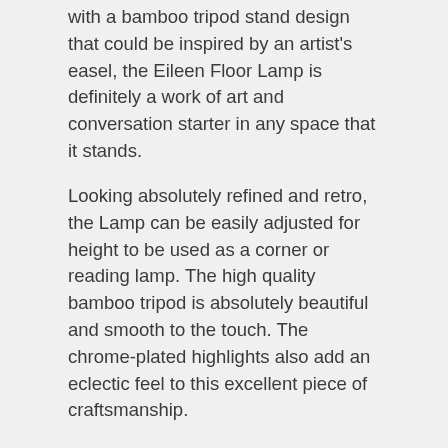with a bamboo tripod stand design that could be inspired by an artist's easel, the Eileen Floor Lamp is definitely a work of art and conversation starter in any space that it stands.
Looking absolutely refined and retro, the Lamp can be easily adjusted for height to be used as a corner or reading lamp. The high quality bamboo tripod is absolutely beautiful and smooth to the touch. The chrome-plated highlights also add an eclectic feel to this excellent piece of craftsmanship.
The diffused glow projected from the linen lamp shade is also great for ambient lighting to transform your home into a cosy and relaxed environment with exquisite style. A foot switch makes it easy to turn the lamp on and off without fuss.
Light your home with style and refinement. Let it be with the Tripod Floor Lamp Linen Shade Beige Modern Light Retro Vintage Wooden Frame Lamp.
Commercial customer can contact us for bulk pricing and site specific suggestions.